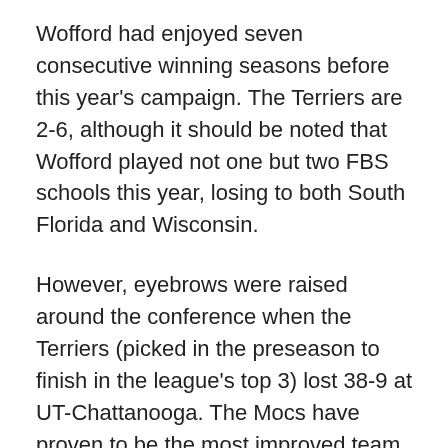Wofford had enjoyed seven consecutive winning seasons before this year's campaign.  The Terriers are 2-6, although it should be noted that Wofford played not one but two FBS schools this year, losing to both South Florida and Wisconsin.
However, eyebrows were raised around the conference when the Terriers (picked in the preseason to finish in the league's top 3) lost 38-9 at UT-Chattanooga.  The Mocs have proven to be the most improved team in the league, but that loss clearly showed that Wofford had some unexpected issues.  The two main themes for the Terriers this year have been injuries and turnovers.
Wofford entered the season with a fairly inexperienced squad (only nine returning starters), and that inexperience has been compounded by a rash of serious injuries, many